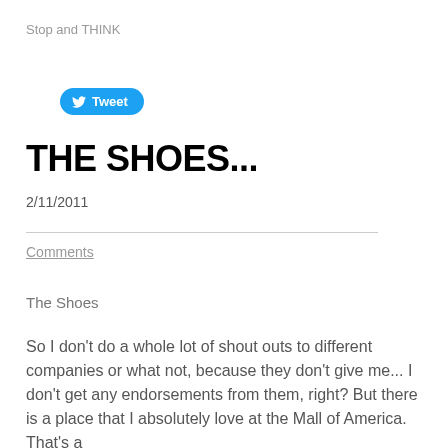Stop and THINK
[Figure (other): Twitter Tweet button with bird icon]
THE SHOES...
2/11/2011
Comments
The Shoes
So I don't do a whole lot of shout outs to different companies or what not, because they don't give me... I don't get any endorsements from them, right? But there is a place that I absolutely love at the Mall of America. That's a